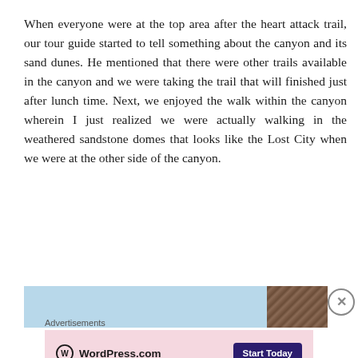When everyone were at the top area after the heart attack trail, our tour guide started to tell something about the canyon and its sand dunes. He mentioned that there were other trails available in the canyon and we were taking the trail that will finished just after lunch time. Next, we enjoyed the walk within the canyon wherein I just realized we were actually walking in the weathered sandstone domes that looks like the Lost City when we were at the other side of the canyon.
[Figure (photo): Partial photo strip showing blue sky on the left and rocky canyon surface on the right, partially visible at bottom of page]
Advertisements
[Figure (logo): WordPress.com advertisement banner with logo and Start Today button on pink background]